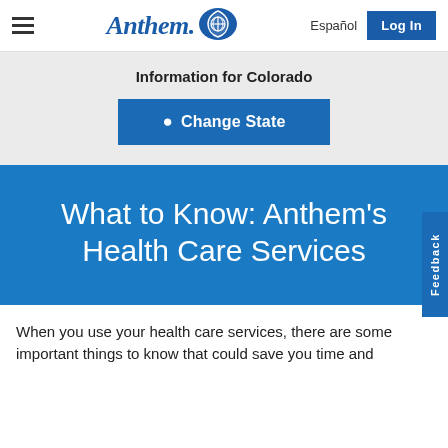Anthem Blue Cross Blue Shield — Español | Log In
Information for Colorado
Change State
What to Know: Anthem's Health Care Services
When you use your health care services, there are some important things to know that could save you time and